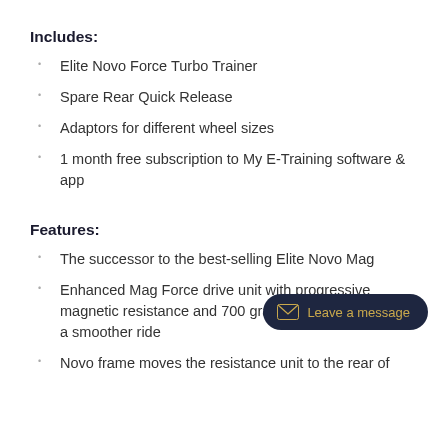Includes:
Elite Novo Force Turbo Trainer
Spare Rear Quick Release
Adaptors for different wheel sizes
1 month free subscription to My E-Training software & app
Features:
The successor to the best-selling Elite Novo Mag
Enhanced Mag Force drive unit with progressive magnetic resistance and 700 gram heavier flywheel for a smoother ride
Novo frame moves the resistance unit to the rear of